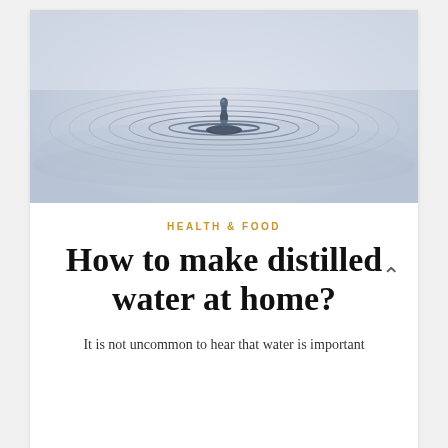[Figure (photo): Water droplet creating circular ripples on water surface, blue-grey tones, close-up macro photography]
HEALTH & FOOD
How to make distilled water at home?
It is not uncommon to hear that water is important